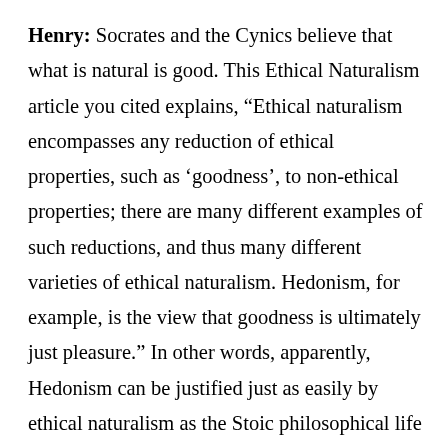Henry: Socrates and the Cynics believe that what is natural is good. This Ethical Naturalism article you cited explains, “Ethical naturalism encompasses any reduction of ethical properties, such as ‘goodness’, to non-ethical properties; there are many different examples of such reductions, and thus many different varieties of ethical naturalism. Hedonism, for example, is the view that goodness is ultimately just pleasure.” In other words, apparently, Hedonism can be justified just as easily by ethical naturalism as the Stoic philosophical life and its virtues. How can you use this “Ethical Naturalism” to defend the Stoic virtues?